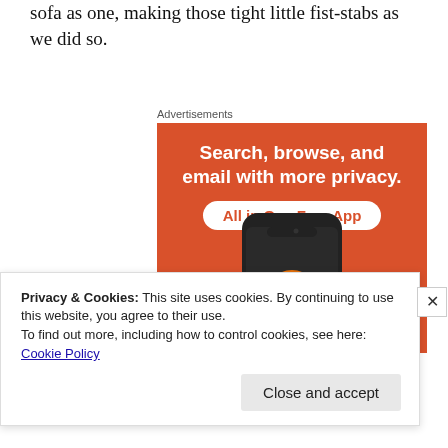sofa as one, making those tight little fist-stabs as we did so.
Advertisements
[Figure (illustration): DuckDuckGo advertisement: orange background with white bold text 'Search, browse, and email with more privacy.' and a white pill-shaped button with orange text 'All in One Free App'. Below is a smartphone showing the DuckDuckGo duck logo.]
Privacy & Cookies: This site uses cookies. By continuing to use this website, you agree to their use.
To find out more, including how to control cookies, see here:
Cookie Policy
Close and accept